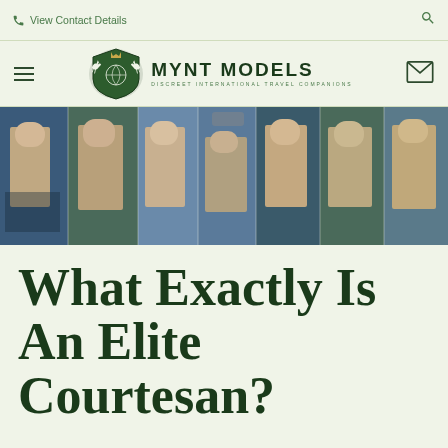View Contact Details
[Figure (logo): Mynt Models logo with pegasus crest and text 'MYNT MODELS - DISCREET INTERNATIONAL TRAVEL COMPANIONS']
[Figure (photo): Horizontal banner strip of collage photos showing elegantly dressed women in various outdoor and urban settings]
What Exactly Is An Elite Courtesan?